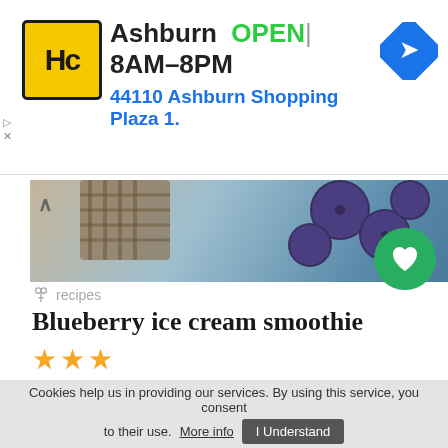[Figure (screenshot): Advertisement banner for Harris Country (HC) store in Ashburn. Yellow logo with HC text, showing location name Ashburn, OPEN status, hours 8AM-8PM, address 44110 Ashburn Shopping Plaza 1., and a blue navigation arrow icon.]
[Figure (photo): Partial image of blueberry ice cream smoothie ingredients - blueberries and a textured element visible at top of card.]
recipes
Blueberry ice cream smoothie
★★★
...exceptional refreshing smoothie that is a symbol of health and summer...
Similar recipes like Blueberry ice cream smoothie
♥ 5   👍 132   ⏱ 15 min
Cookies help us in providing our services. By using this service, you consent to their use. More info  I Understand